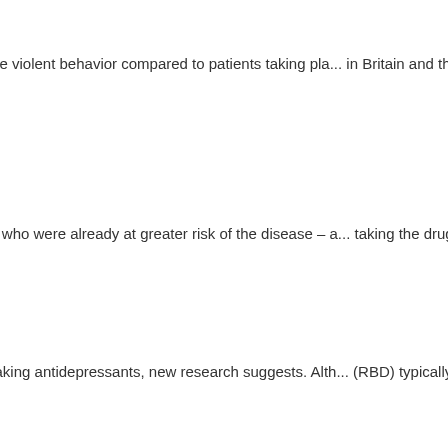Antidepressant Paxil found to double the r...
9/12/2006 - New British research has found that users of GlaxoSmithKli... as likely to experience violent behavior compared to patients taking pla... in Britain and the Cochrane Centre examined data on Paxil -- or its ge...
Antidepressants Associated With Increased... Diabetics (press release)
8/28/2006 - The use of antidepressant drugs was associated with a sign... 2 diabetes in people who were already at greater risk of the disease – a... taking the drug metformin, according to a report presented here today a...
Antidepressants May Worsen Sleep Disord...
8/18/2006 - A sleep disorder characterized by violent dreams, often acte... common in people taking antidepressants, new research suggests. Alth... (RBD) typically occurs in patients in their 50s, doctors are noticing a tre...
Findings on Antidepressants During Pregna... Caution (press release)
9/11/2006 - Until recently, antidepressants -- especially selective seroto...